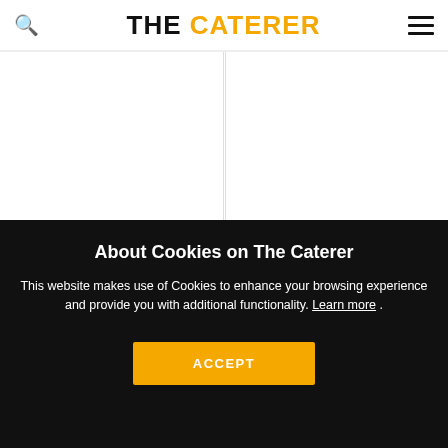THE CATERER
[Figure (other): Two article card placeholders side by side with category tags: FOODSERVICE and HOTEL]
About Cookies on The Caterer
This website makes use of Cookies to enhance your browsing experience and provide you with additional functionality. Learn more .
ACCEPT